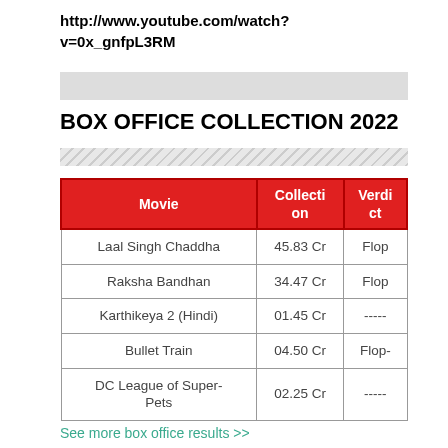http://www.youtube.com/watch?v=0x_gnfpL3RM
BOX OFFICE COLLECTION 2022
| Movie | Collection | Verdict |
| --- | --- | --- |
| Laal Singh Chaddha | 45.83 Cr | Flop |
| Raksha Bandhan | 34.47 Cr | Flop |
| Karthikeya 2 (Hindi) | 01.45 Cr | ----- |
| Bullet Train | 04.50 Cr | Flop- |
| DC League of Super-Pets | 02.25 Cr | ----- |
See more box office results >>